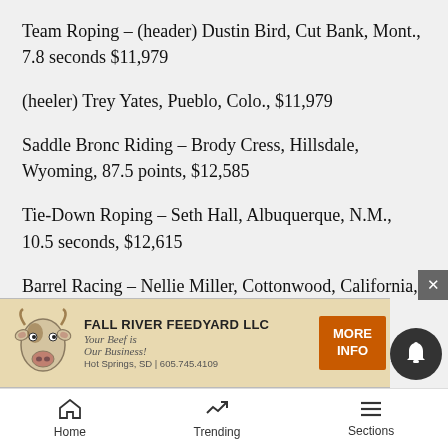Team Roping – (header) Dustin Bird, Cut Bank, Mont., 7.8 seconds $11,979
(heeler) Trey Yates, Pueblo, Colo., $11,979
Saddle Bronc Riding – Brody Cress, Hillsdale, Wyoming, 87.5 points, $12,585
Tie-Down Roping – Seth Hall, Albuquerque, N.M., 10.5 seconds, $12,615
Barrel Racing – Nellie Miller, Cottonwood, California, 17.22 seconds, $20,687
Bull Riding – Stetson Wright, Milford, Utah, 93 points, $13,253
Steer R... 6
[Figure (other): Fall River Feedyard LLC advertisement banner with cow illustration, tagline 'Your Beef is Our Business!', contact info Hot Springs, SD 605.745.4109, and MORE INFO button]
Home | Trending | Sections